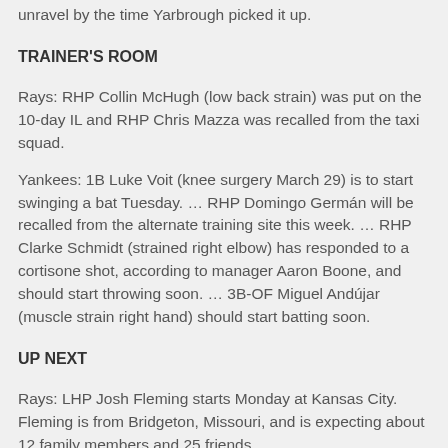unravel by the time Yarbrough picked it up.
TRAINER'S ROOM
Rays: RHP Collin McHugh (low back strain) was put on the 10-day IL and RHP Chris Mazza was recalled from the taxi squad.
Yankees: 1B Luke Voit (knee surgery March 29) is to start swinging a bat Tuesday. … RHP Domingo Germán will be recalled from the alternate training site this week. … RHP Clarke Schmidt (strained right elbow) has responded to a cortisone shot, according to manager Aaron Boone, and should start throwing soon. … 3B-OF Miguel Andújar (muscle strain right hand) should start batting soon.
UP NEXT
Rays: LHP Josh Fleming starts Monday at Kansas City. Fleming is from Bridgeton, Missouri, and is expecting about 12 family members and 25 friends,